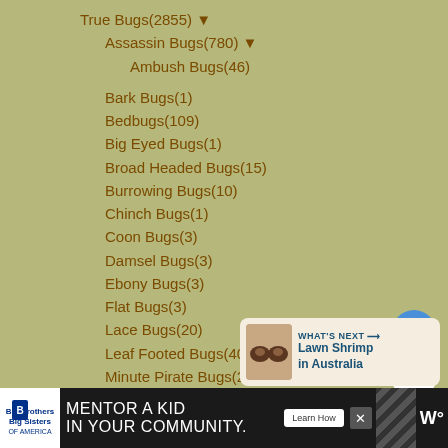True Bugs(2855) ▼
Assassin Bugs(780) ▼
Ambush Bugs(46)
Bark Bugs(1)
Bedbugs(109)
Big Eyed Bugs(1)
Broad Headed Bugs(15)
Burrowing Bugs(10)
Chinch Bugs(1)
Coon Bugs(3)
Damsel Bugs(3)
Ebony Bugs(3)
Flat Bugs(3)
Lace Bugs(20)
Leaf Footed Bugs(407)
Minute Pirate Bugs(2)
Mirid Plant Bugs(31)
Plant Bugs(131) ▼
Box Elder Bugs(70)